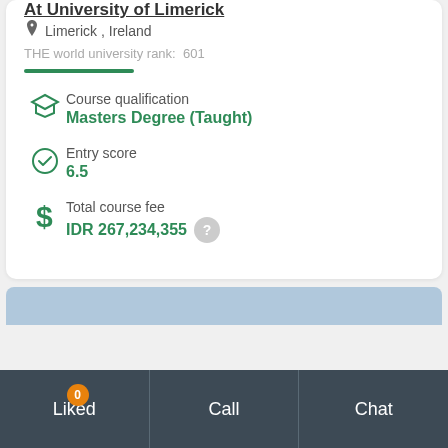At University of Limerick
Limerick , Ireland
THE world university rank:  601
Course qualification
Masters Degree (Taught)
Entry score
6.5
Total course fee
IDR 267,234,355
Liked  0    Call    Chat